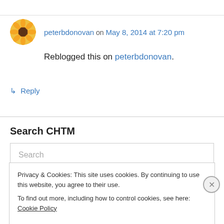peterbdonovan on May 8, 2014 at 7:20 pm
Reblogged this on peterbdonovan.
↳ Reply
Search CHTM
Search
Privacy & Cookies: This site uses cookies. By continuing to use this website, you agree to their use. To find out more, including how to control cookies, see here: Cookie Policy
Close and accept